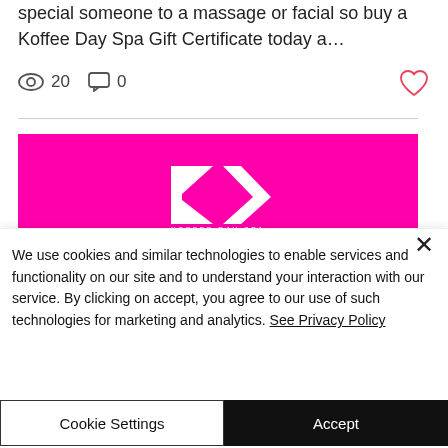special someone to a massage or facial so buy a Koffee Day Spa Gift Certificate today a…
20   0
[Figure (logo): Koffee Day Spa logo on magenta/pink background with white K logo mark and WELCOME text]
We use cookies and similar technologies to enable services and functionality on our site and to understand your interaction with our service. By clicking on accept, you agree to our use of such technologies for marketing and analytics. See Privacy Policy
Cookie Settings
Accept